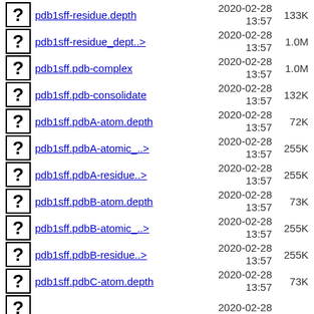pdb1sff-residue.depth  2020-02-28 13:57  133K
pdb1sff-residue_dept..>  2020-02-28 13:57  1.0M
pdb1sff.pdb-complex  2020-02-28 13:57  1.0M
pdb1sff.pdb-consolidate  2020-02-28 13:57  132K
pdb1sff.pdbA-atom.depth  2020-02-28 13:57  72K
pdb1sff.pdbA-atomic_..>  2020-02-28 13:57  255K
pdb1sff.pdbA-residue..>  2020-02-28 13:57  255K
pdb1sff.pdbB-atom.depth  2020-02-28 13:57  73K
pdb1sff.pdbB-atomic_..>  2020-02-28 13:57  255K
pdb1sff.pdbB-residue..>  2020-02-28 13:57  255K
pdb1sff.pdbC-atom.depth  2020-02-28 13:57  73K
pdb1sff.pdb...  2020-02-28